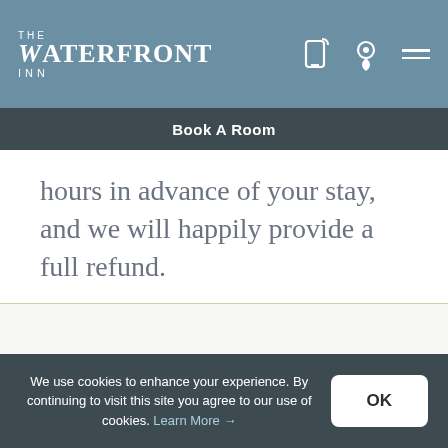THE WATERFRONT INN
Book A Room
hours in advance of your stay, and we will happily provide a full refund.
Contact
We use cookies to enhance your experience. By continuing to visit this site you agree to our use of cookies. Learn More →